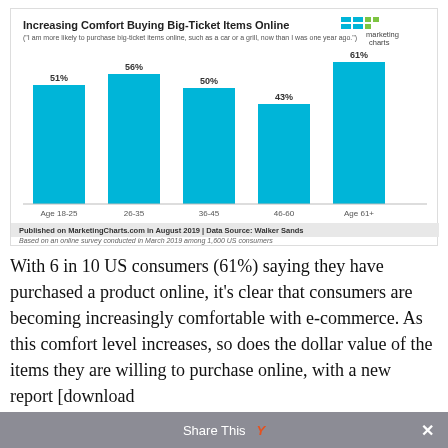[Figure (bar-chart): Increasing Comfort Buying Big-Ticket Items Online]
With 6 in 10 US consumers (61%) saying they have purchased a product online, it's clear that consumers are becoming increasingly comfortable with e-commerce. As this comfort level increases, so does the dollar value of the items they are willing to purchase online, with a new report [download
Share This ×